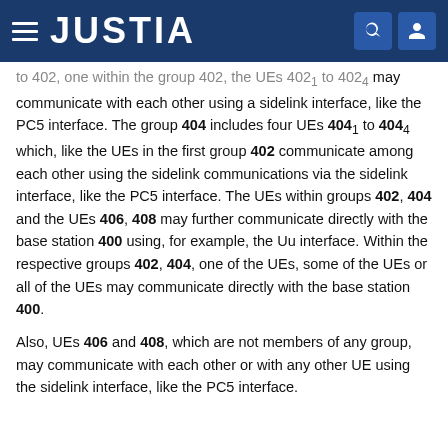JUSTIA
to 402, one within the group 402, the UEs 402₁ to 402₄ may communicate with each other using a sidelink interface, like the PC5 interface. The group 404 includes four UEs 404₁ to 404₄ which, like the UEs in the first group 402 communicate among each other using the sidelink communications via the sidelink interface, like the PC5 interface. The UEs within groups 402, 404 and the UEs 406, 408 may further communicate directly with the base station 400 using, for example, the Uu interface. Within the respective groups 402, 404, one of the UEs, some of the UEs or all of the UEs may communicate directly with the base station 400.
Also, UEs 406 and 408, which are not members of any group, may communicate with each other or with any other UE using the sidelink interface, like the PC5 interface.